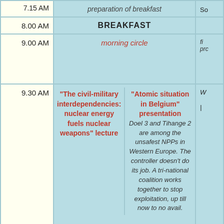| Time | Activity | Column3 |
| --- | --- | --- |
| 7.15 AM | preparation of breakfast | So... |
| 8.00 AM | BREAKFAST |  |
| 9.00 AM | morning circle | fi... pro... |
| 9.30 AM | "The civil-military interdependencies: nuclear energy fuels nuclear weapons" lecture | "Atomic situation in Belgium" presentation Doel 3 and Tihange 2 are among the unsafest NPPs in Western Europe. The controller doesn't do its job. A tri-national coalition works together to stop exploitation, up till now to no avail. | W... |